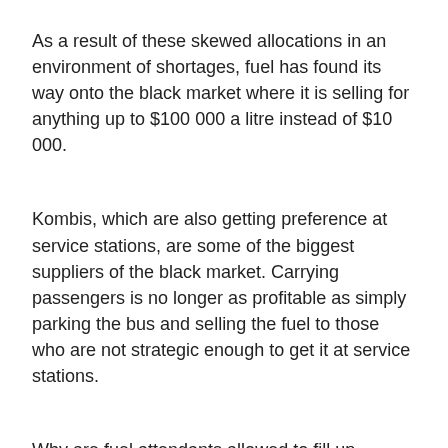As a result of these skewed allocations in an environment of shortages, fuel has found its way onto the black market where it is selling for anything up to $100 000 a litre instead of $10 000.
Kombis, which are also getting preference at service stations, are some of the biggest suppliers of the black market. Carrying passengers is no longer as profitable as simply parking the bus and selling the fuel to those who are not strategic enough to get it at service stations.
Why are fuel attendants allowed to fill up vehicles from the scrapyard which at times don't have engines but carry improvised tanks of up to 200 litres? Where is our police force to deal with the black market? Who cares especially if